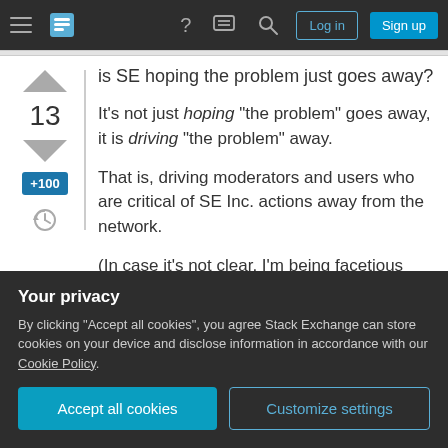Stack Exchange navigation bar with hamburger menu, logo, help, chat, search icons, Log in and Sign up buttons
is SE hoping the problem just goes away?
It's not just hoping "the problem" goes away, it is driving "the problem" away.
That is, driving moderators and users who are critical of SE Inc. actions away from the network.
(In case it's not clear, I'm being facetious here - I don't accept their view of critics as the problem.)
Your privacy
By clicking "Accept all cookies", you agree Stack Exchange can store cookies on your device and disclose information in accordance with our Cookie Policy.
Accept all cookies
Customize settings